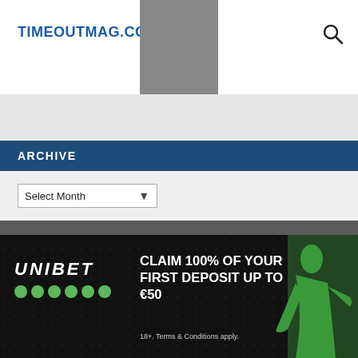TIMEOUTMAG.COM
ARCHIVE
Select Month
[Figure (screenshot): Unibet advertisement banner: 'CLAIM 100% OF YOUR FIRST DEPOSIT UP TO €50'. 18+. Terms & Conditions apply.]